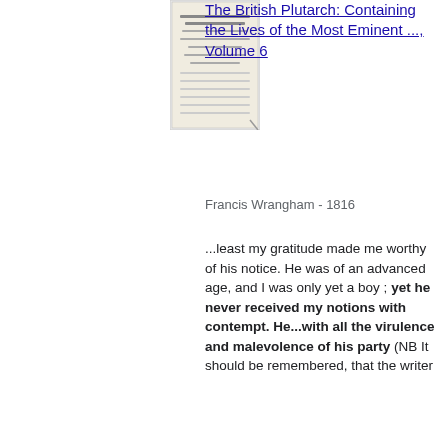[Figure (illustration): Thumbnail image of the book cover for The British Plutarch, Volume 6]
The British Plutarch: Containing the Lives of the Most Eminent ..., Volume 6
Francis Wrangham - 1816
...least my gratitude made me worthy of his notice. He was of an advanced age, and I was only yet a boy ; yet he never received my notions with contempt. He...with all the virulence and malevolence of his party (NB It should be remembered, that the writer